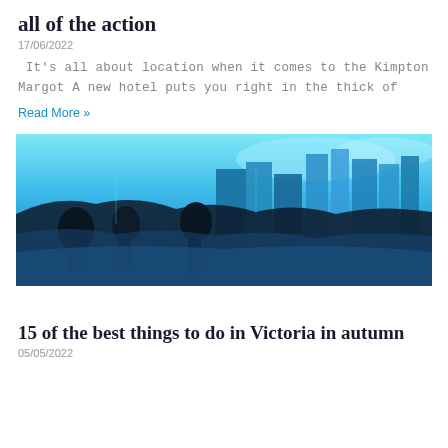all of the action
17/06/2022
It's all about location when it comes to the Kimpton Margot A new hotel puts you right in the thick of
Read More »
[Figure (photo): Blue-toned cityscape photo showing silhouettes of people and city skyscrapers with a vibrant blue color filter applied]
15 of the best things to do in Victoria in autumn
05/05/2022